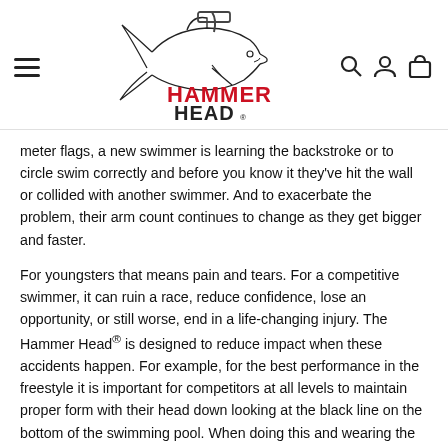[Figure (logo): Hammer Head brand logo with shark graphic and red text reading HAMMER HEAD]
meter flags, a new swimmer is learning the backstroke or to circle swim correctly and before you know it they've hit the wall or collided with another swimmer. And to exacerbate the problem, their arm count continues to change as they get bigger and faster.
For youngsters that means pain and tears. For a competitive swimmer, it can ruin a race, reduce confidence, lose an opportunity, or still worse, end in a life-changing injury. The Hammer Head® is designed to reduce impact when these accidents happen. For example, for the best performance in the freestyle it is important for competitors at all levels to maintain proper form with their head down looking at the black line on the bottom of the swimming pool. When doing this and wearing the Hammer